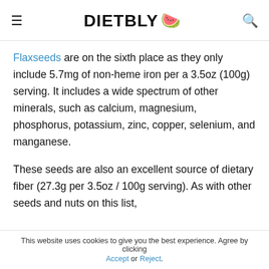DIETBLY 🍉
Flaxseeds are on the sixth place as they only include 5.7mg of non-heme iron per a 3.5oz (100g) serving. It includes a wide spectrum of other minerals, such as calcium, magnesium, phosphorus, potassium, zinc, copper, selenium, and manganese.
These seeds are also an excellent source of dietary fiber (27.3g per 3.5oz / 100g serving). As with other seeds and nuts on this list,
This website uses cookies to give you the best experience. Agree by clicking Accept or Reject.